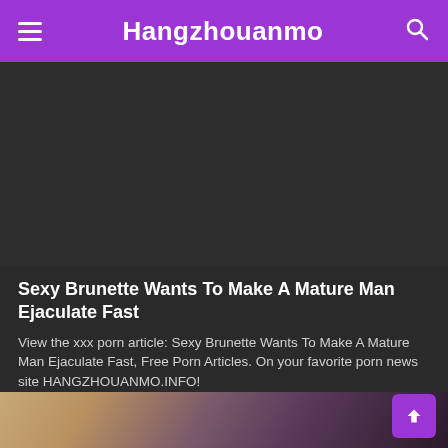Hangzhouanmo
[Figure (screenshot): Dark placeholder image area for video/article thumbnail]
Sexy Brunette Wants To Make A Mature Man Ejaculate Fast
View the xxx porn article: Sexy Brunette Wants To Make A Mature Man Ejaculate Fast, Free Porn Articles. On your favorite porn news site HANGZHOUANMO.INFO!
2 Views · Likes 0
[Figure (photo): Partial bottom image showing two women, one blonde and one brunette]